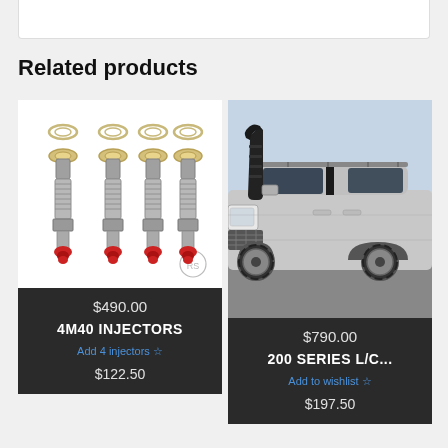Related products
[Figure (photo): Four diesel fuel injectors with red tips and gold/silver washers on white background]
$490.00
4M40 INJECTORS
Add 4 injectors ☆
$122.50
[Figure (photo): Silver Toyota Land Cruiser 200 Series with black snorkel attached to front pillar]
$790.00
200 SERIES L/C...
Add to wishlist ☆
$197.50